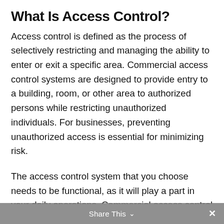What Is Access Control?
Access control is defined as the process of selectively restricting and managing the ability to enter or exit a specific area. Commercial access control systems are designed to provide entry to a building, room, or other area to authorized persons while restricting unauthorized individuals. For businesses, preventing unauthorized access is essential for minimizing risk.
The access control system that you choose needs to be functional, as it will play a part in your daily operations. Commercial access control systems can range in complexity with a variety of features. An effective system provides quick and convenient access for authorized persons while securely
Share This ∨ ×